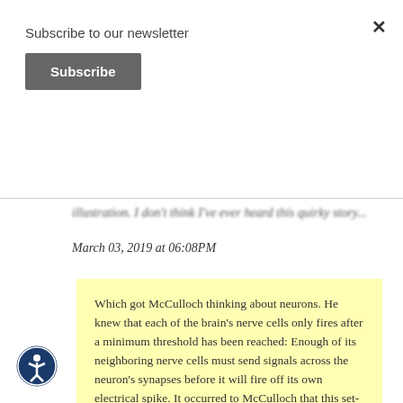Subscribe to our newsletter
Subscribe
illustration. I don't think I've ever heard this quirky story...
March 03, 2019 at 06:08PM
Which got McCulloch thinking about neurons. He knew that each of the brain's nerve cells only fires after a minimum threshold has been reached: Enough of its neighboring nerve cells must send signals across the neuron's synapses before it will fire off its own electrical spike. It occurred to McCulloch that this set-up was binary—either the neuron fires or it doesn't. A neuron's signal, he realized, is